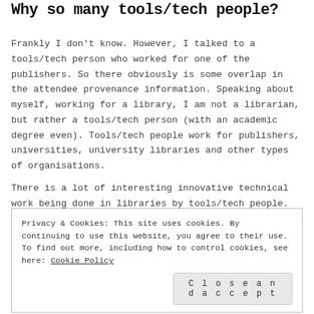Why so many tools/tech people?
Frankly I don't know. However, I talked to a tools/tech person who worked for one of the publishers. So there obviously is some overlap in the attendee provenance information. Speaking about myself, working for a library, I am not a librarian, but rather a tools/tech person (with an academic degree even). Tools/tech people work for publishers, universities, university libraries and other types of organisations.
There is a lot of interesting innovative technical work being done in libraries by tools/tech people. We even have our own
Privacy & Cookies: This site uses cookies. By continuing to use this website, you agree to their use.
To find out more, including how to control cookies, see here: Cookie Policy
Close and accept